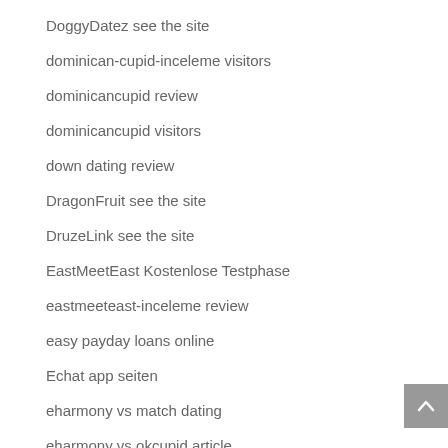DoggyDatez see the site
dominican-cupid-inceleme visitors
dominicancupid review
dominicancupid visitors
down dating review
DragonFruit see the site
DruzeLink see the site
EastMeetEast Kostenlose Testphase
eastmeeteast-inceleme review
easy payday loans online
Echat app seiten
eharmony vs match dating
eharmony vs okcupid article
elitarne randkowe strony